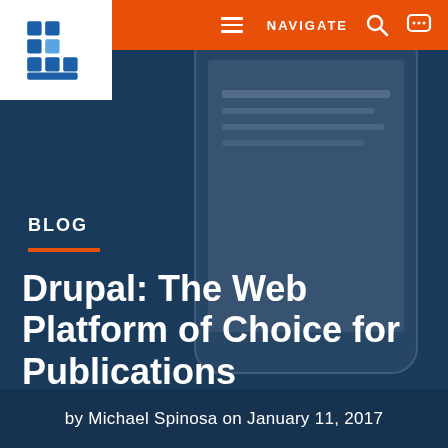[Figure (logo): Unleashed Technologies logo — blue geometric 'U' shape with grid pattern]
NAVIGATE
[Figure (photo): Dark blue tinted hero background with a person holding a smartphone, partially visible hand and phone screen in the background]
BLOG
Drupal: The Web Platform of Choice for Publications
by Michael Spinosa on January 11, 2017